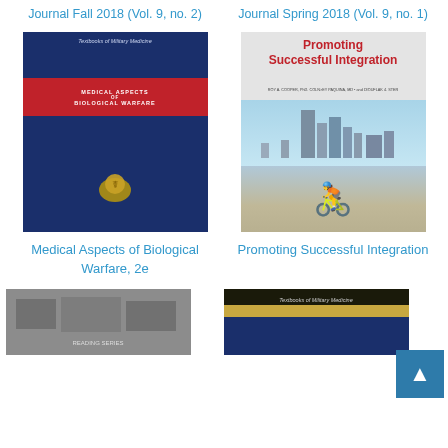Journal Fall 2018 (Vol. 9, no. 2)
Journal Spring 2018 (Vol. 9, no. 1)
[Figure (photo): Book cover: Medical Aspects of Biological Warfare, 2e — navy blue cover with red band and gold emblem, part of Textbooks of Military Medicine series]
Medical Aspects of Biological Warfare, 2e
[Figure (photo): Book cover: Promoting Successful Integration — shows title in red on light background above photo of an Army veteran in hand cycle with city skyline behind]
Promoting Successful Integration
[Figure (photo): Partial book cover bottom-left — black and white historical photograph]
[Figure (photo): Partial book cover bottom-right — Textbooks of Military Medicine series cover, dark blue and tan striped]